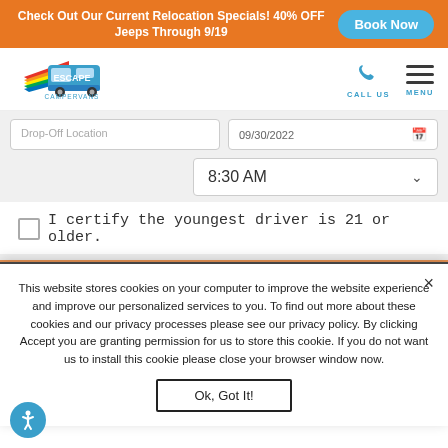Check Out Our Current Relocation Specials! 40% OFF Jeeps Through 9/19
[Figure (logo): Escape Campervans logo with rainbow wing stripes]
Drop-Off Location  |  09/30/2022  |  8:30 AM
I certify the youngest driver is 21 or older.
This website stores cookies on your computer to improve the website experience and improve our personalized services to you. To find out more about these cookies and our privacy processes please see our privacy policy. By clicking Accept you are granting permission for us to store this cookie. If you do not want us to install this cookie please close your browser window now.
Ok, Got It!